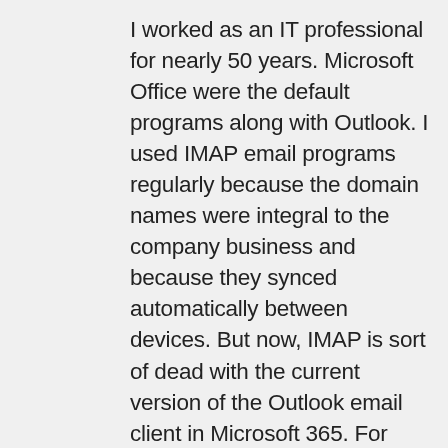I worked as an IT professional for nearly 50 years. Microsoft Office were the default programs along with Outlook. I used IMAP email programs regularly because the domain names were integral to the company business and because they synced automatically between devices. But now, IMAP is sort of dead with the current version of the Outlook email client in Microsoft 365. For decades, I would set up IMAP email accounts in Outlook but not that doesn't work. If you want to access an IMAP email account in Outlook, you MUST join the domain name to your Microsoft account and your email address gets modified to a subdomain name. You lose all the simplicity of using your domain name. Yuck. Plus it takes hours of hassle to move your domain inside of Microsoft's servers. At this point, Microsoft 365 Outlook is the ONLY place where IMAP email accounts don't work. This, after 50 yeas of reliably using IMAP email in Outlook.